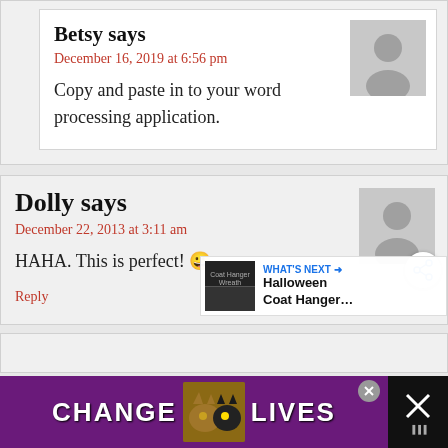Betsy says
December 16, 2019 at 6:56 pm
Copy and paste in to your word processing application.
Dolly says
December 22, 2013 at 3:11 am
HAHA. This is perfect! 😀
Reply
[Figure (infographic): WHAT'S NEXT arrow with thumbnail and text: Halloween Coat Hanger...]
[Figure (photo): Advertisement banner: CHANGE LIVES with cat photos on purple background]